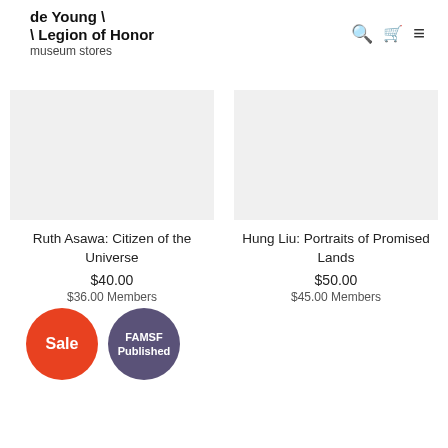de Young \ \ Legion of Honor museum stores
[Figure (infographic): Two product listings side by side. Left: Ruth Asawa: Citizen of the Universe, $40.00, $36.00 Members. Right: Hung Liu: Portraits of Promised Lands, $50.00, $45.00 Members.]
[Figure (infographic): Two circular filter badges: a red circle labeled 'Sale' and a purple circle labeled 'FAMSF Published']